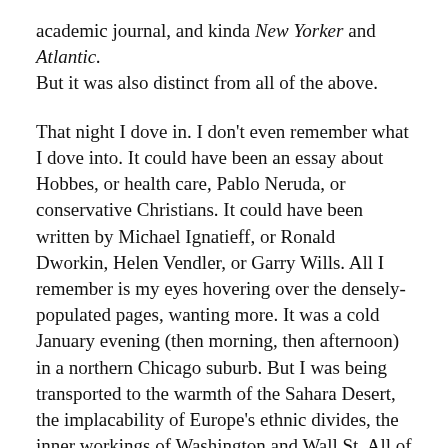academic journal, and kinda New Yorker and Atlantic. But it was also distinct from all of the above.
That night I dove in. I don't even remember what I dove into. It could have been an essay about Hobbes, or health care, Pablo Neruda, or conservative Christians. It could have been written by Michael Ignatieff, or Ronald Dworkin, Helen Vendler, or Garry Wills. All I remember is my eyes hovering over the densely-populated pages, wanting more. It was a cold January evening (then morning, then afternoon) in a northern Chicago suburb. But I was being transported to the warmth of the Sahara Desert, the implacability of Europe's ethnic divides, the inner workings of Washington and Wall St. All of which—little did I know—was being curated by a Long Island farm boy named Robert Silvers [the character on the line